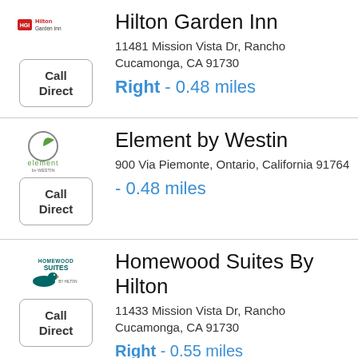[Figure (logo): Hilton Garden Inn logo]
Call Direct
Hilton Garden Inn
11481 Mission Vista Dr, Rancho Cucamonga, CA 91730
Right - 0.48 miles
[Figure (logo): Element by Westin logo]
Call Direct
Element by Westin
900 Via Piemonte, Ontario, California 91764
- 0.48 miles
[Figure (logo): Homewood Suites by Hilton logo]
Call Direct
Homewood Suites By Hilton
11433 Mission Vista Dr, Rancho Cucamonga, CA 91730
Right - 0.55 miles